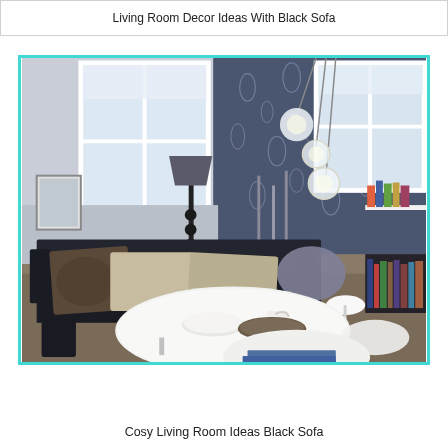Living Room Decor Ideas With Black Sofa
[Figure (photo): A cosy living room featuring a dark navy/black sofa with decorative pillows, floral wallpaper in dark blue-grey tones, pendant globe lights hanging from the ceiling, a floor lamp, white round coffee table with tea set, a bookshelf on the right, and two windows letting in natural light. The image has a teal/turquoise border.]
Cosy Living Room Ideas Black Sofa